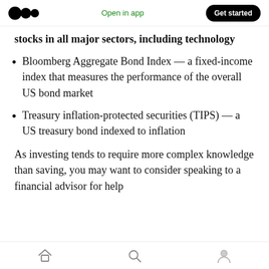Open in app | Get started
stocks in all major sectors, including technology
Bloomberg Aggregate Bond Index — a fixed-income index that measures the performance of the overall US bond market
Treasury inflation-protected securities (TIPS) — a US treasury bond indexed to inflation
As investing tends to require more complex knowledge than saving, you may want to consider speaking to a financial advisor for help
Home | Search | Profile